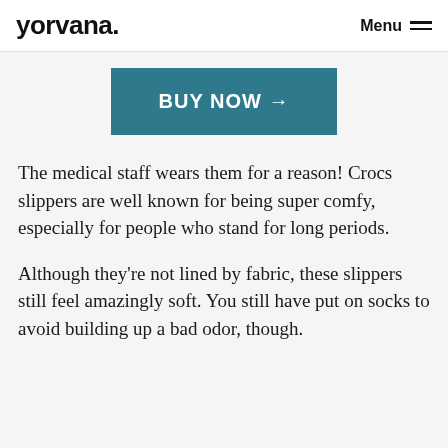yorvana. Menu
[Figure (other): BUY NOW button with arrow, teal/dark cyan background]
The medical staff wears them for a reason! Crocs slippers are well known for being super comfy, especially for people who stand for long periods.
Although they’re not lined by fabric, these slippers still feel amazingly soft. You still have put on socks to avoid building up a bad odor, though.